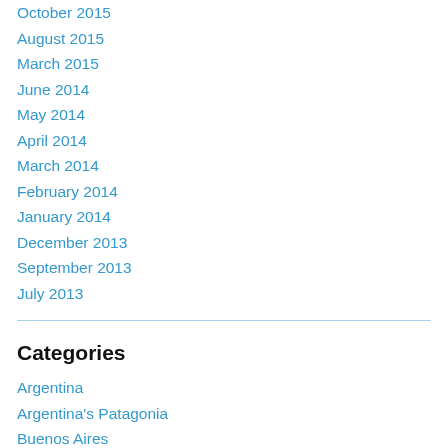October 2015
August 2015
March 2015
June 2014
May 2014
April 2014
March 2014
February 2014
January 2014
December 2013
September 2013
July 2013
Categories
Argentina
Argentina's Patagonia
Buenos Aires
Chile